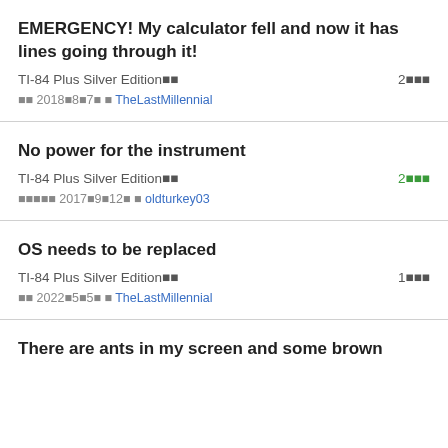EMERGENCY! My calculator fell and now it has lines going through it!
TI-84 Plus Silver Edition■■	2■■■
■■ 2018■8■7■ ■ TheLastMillennial
No power for the instrument
TI-84 Plus Silver Edition■■	2■■■
■■■■■ 2017■9■12■ ■ oldturkey03
OS needs to be replaced
TI-84 Plus Silver Edition■■	1■■■
■■ 2022■5■5■ ■ TheLastMillennial
There are ants in my screen and some brown